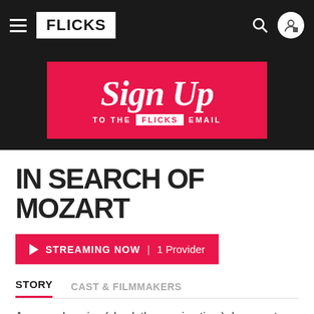FLICKS
[Figure (infographic): Sign Up to the FLICKS Email promotional banner — red background with cursive white Sign Up text and FLICKS logo in white box]
IN SEARCH OF MOZART
STREAMING NOW | 1 Provider
STORY
CAST & FILMMAKERS
A comprehensive (check the running time) documentary